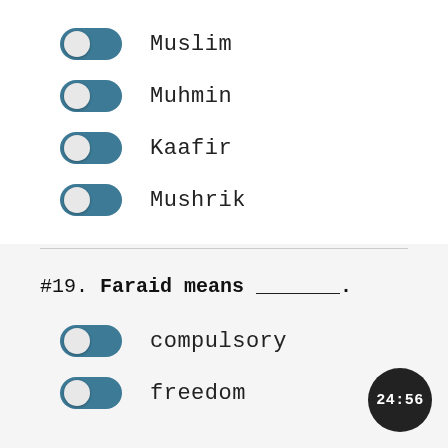Muslim
Muhmin
Kaafir
Mushrik
#19. Faraid means _______.
compulsory
freedom
24:56